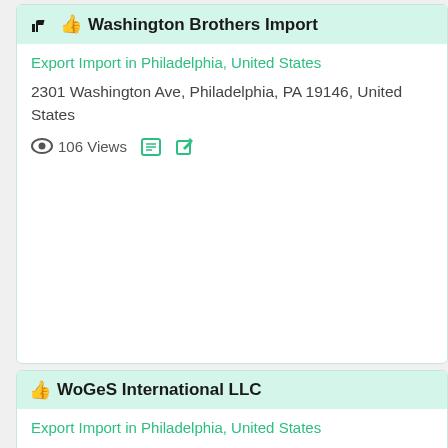Washington Brothers Import
Export Import in Philadelphia, United States
2301 Washington Ave, Philadelphia, PA 19146, United States
106 Views
WoGeS International LLC
Export Import in Philadelphia, United States
2325 S 64th St, Philadelphia, PA 19142, United States